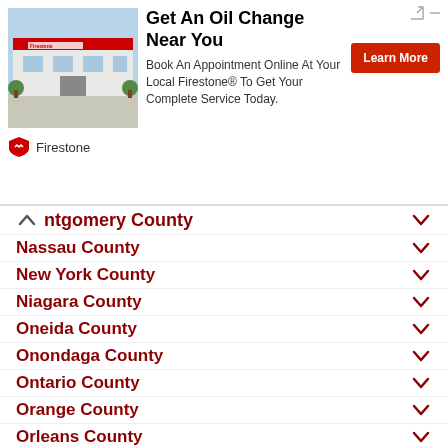[Figure (screenshot): Firestone advertisement banner: 'Get An Oil Change Near You. Book An Appointment Online At Your Local Firestone® To Get Your Complete Service Today.' with a Learn More button and Firestone logo.]
Montgomery County
Nassau County
New York County
Niagara County
Oneida County
Onondaga County
Ontario County
Orange County
Orleans County
Oswego County